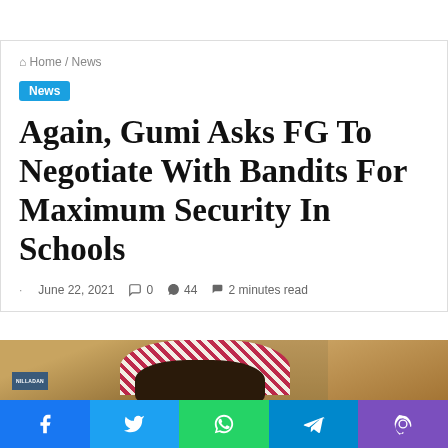Home / News
News
Again, Gumi Asks FG To Negotiate With Bandits For Maximum Security In Schools
· June 22, 2021  🗨 0  🔥 44  🔖 2 minutes read
[Figure (photo): Photo of a man wearing a red and white checkered headdress standing next to a uniformed officer]
Social share buttons: Facebook, Twitter, WhatsApp, Telegram, Viber